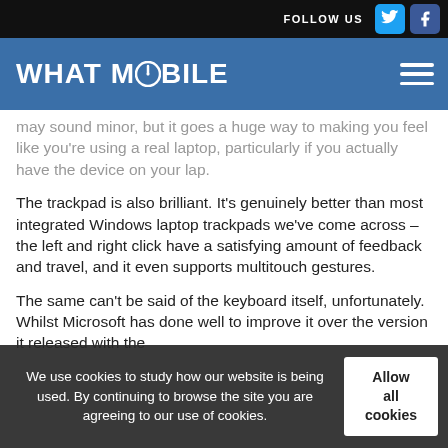FOLLOW US
[Figure (logo): What Mobile logo on blue navigation bar with hamburger menu icon]
may sound minor, but it goes a huge way to making you feel like you're using a real laptop, particularly if you actually have the device on your lap.
The trackpad is also brilliant. It's genuinely better than most integrated Windows laptop trackpads we've come across – the left and right click have a satisfying amount of feedback and travel, and it even supports multitouch gestures.
The same can't be said of the keyboard itself, unfortunately. Whilst Microsoft has done well to improve it over the version it released with the
We use cookies to study how our website is being used. By continuing to browse the site you are agreeing to our use of cookies.